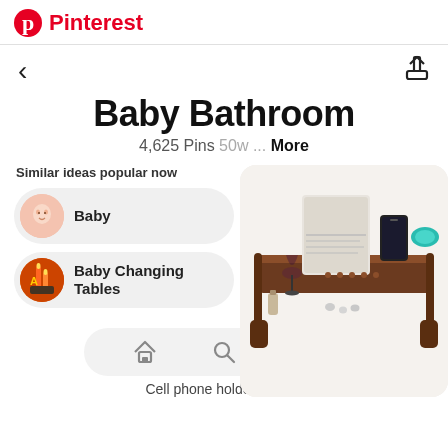Pinterest
Baby Bathroom
4,625 Pins 50w ... More
Similar ideas popular now
Baby
Baby Changing Tables
[Figure (photo): Wooden bathtub caddy tray with book holder, phone slot, wine glass holder, and accessories]
Cell phone holder – Baby